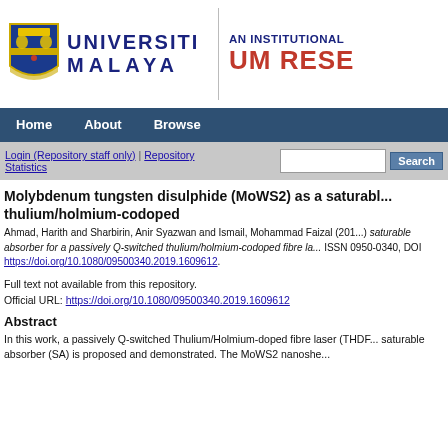[Figure (logo): Universiti Malaya logo with shield and text, and UM Research repository banner]
Home   About   Browse
Login (Repository staff only) | Repository Statistics   [Search box] Search
Molybdenum tungsten disulphide (MoWS2) as a saturable absorber for a passively Q-switched thulium/holmium-codoped
Ahmad, Harith and Sharbirin, Anir Syazwan and Ismail, Mohammad Faizal (201...) saturable absorber for a passively Q-switched thulium/holmium-codoped fibre la... ISSN 0950-0340, DOI https://doi.org/10.1080/09500340.2019.1609612.
Full text not available from this repository.
Official URL: https://doi.org/10.1080/09500340.2019.1609612
Abstract
In this work, a passively Q-switched Thulium/Holmium-doped fibre laser (THDF...) saturable absorber (SA) is proposed and demonstrated. The MoWS2 nanosh...